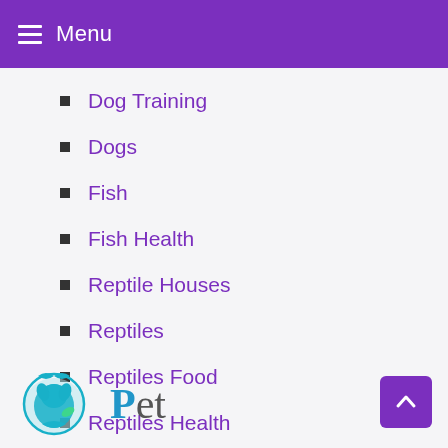Menu
Dog Training
Dogs
Fish
Fish Health
Reptile Houses
Reptiles
Reptiles Food
Reptiles Health
Terrarium Accessories
[Figure (logo): Pet website logo with teal circular animal icon and the word 'Pet' in blue and dark text]